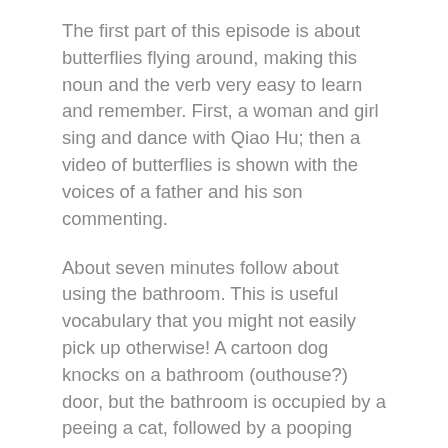The first part of this episode is about butterflies flying around, making this noun and the verb very easy to learn and remember. First, a woman and girl sing and dance with Qiao Hu; then a video of butterflies is shown with the voices of a father and his son commenting.
About seven minutes follow about using the bathroom. This is useful vocabulary that you might not easily pick up otherwise! A cartoon dog knocks on a bathroom (outhouse?) door, but the bathroom is occupied by a peeing a cat, followed by a pooping bird and elephant. Each animal is quite pleased with the relief it gets, as is the dog when he finally gets in to poop himself. The topic is reinforced by several clips of parents helping and encouraging their kids to use the bathroom.